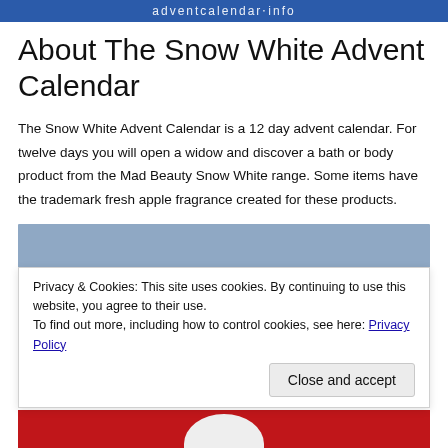adventcalendar.com (or similar site header)
About The Snow White Advent Calendar
The Snow White Advent Calendar is a 12 day advent calendar. For twelve days you will open a widow and discover a bath or body product from the Mad Beauty Snow White range. Some items have the trademark fresh apple fragrance created for these products.
[Figure (photo): Photo of the Snow White Advent Calendar box — red box with Snow White character visible, blue-gray background]
Privacy & Cookies: This site uses cookies. By continuing to use this website, you agree to their use.
To find out more, including how to control cookies, see here: Privacy Policy
Close and accept